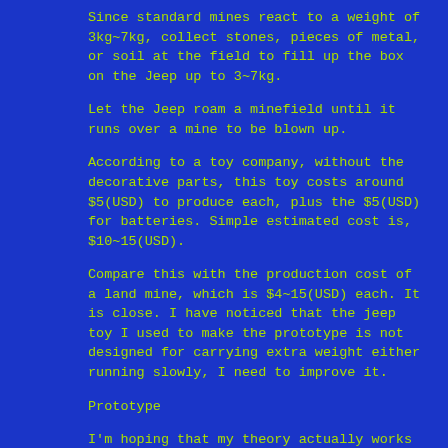Since standard mines react to a weight of 3kg~7kg, collect stones, pieces of metal, or soil at the field to fill up the box on the Jeep up to 3~7kg.
Let the Jeep roam a minefield until it runs over a mine to be blown up.
According to a toy company, without the decorative parts, this toy costs around $5(USD) to produce each, plus the $5(USD) for batteries. Simple estimated cost is, $10~15(USD).
Compare this with the production cost of a land mine, which is $4~15(USD) each. It is close. I have noticed that the jeep toy I used to make the prototype is not designed for carrying extra weight either running slowly, I need to improve it.
Prototype
I'm hoping that my theory actually works in real world. There are so many stages of this project, and each stage needs different people to join it . I would like to involve many different